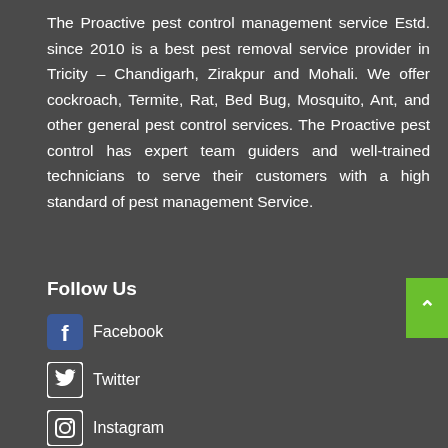The Proactive pest control management service Estd. since 2010 is a best pest removal service provider in Tricity – Chandigarh, Zirakpur and Mohali. We offer cockroach, Termite, Rat, Bed Bug, Mosquito, Ant, and other general pest control services. The Proactive pest control has expert team guiders and well-trained technicians to serve their customers with a high standard of pest management Service.
Follow Us
Facebook
Twitter
Instagram